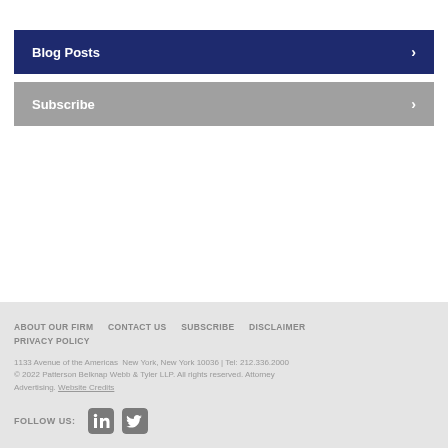Blog Posts
Subscribe
ABOUT OUR FIRM   CONTACT US   SUBSCRIBE   DISCLAIMER   PRIVACY POLICY
1133 Avenue of the Americas  New York, New York 10036 | Tel: 212.336.2000
© 2022 Patterson Belknap Webb & Tyler LLP. All rights reserved. Attorney Advertising. Website Credits
FOLLOW US: